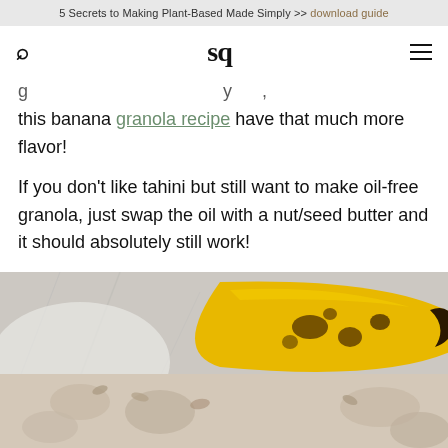5 Secrets to Making Plant-Based Made Simply >> download guide
[Figure (logo): SQ logo with search icon and hamburger menu]
this banana granola recipe have that much more flavor!
If you don't like tahini but still want to make oil-free granola, just swap the oil with a nut/seed butter and it should absolutely still work!
[Figure (photo): Close-up photo of a ripe spotted banana on a marble surface, with granola visible below]